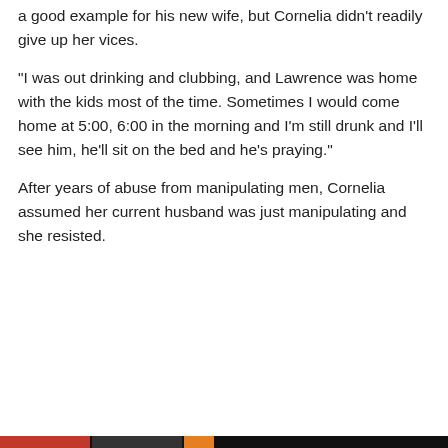a good example for his new wife, but Cornelia didn’t readily give up her vices.
“I was out drinking and clubbing, and Lawrence was home with the kids most of the time. Sometimes I would come home at 5:00, 6:00 in the morning and I’m still drunk and I’ll see him, he’ll sit on the bed and he’s praying.”
After years of abuse from manipulating men, Cornelia assumed her current husband was just manipulating and she resisted.
Privacy & Cookies: This site uses cookies. By continuing to use this website, you agree to their use.
To find out more, including how to control cookies, see here: Cookie Policy
Close and accept